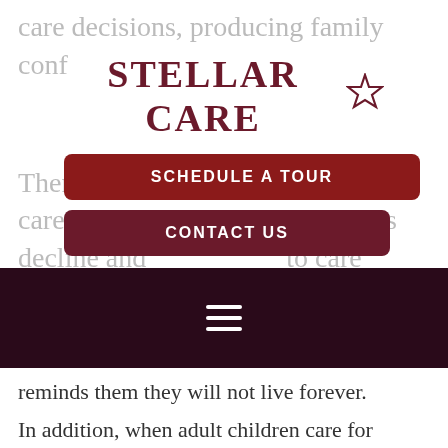care decisions, producing family conf... Then the... caretakers. We see elderly parents decline and... to care for the needs... careful for... all reminds them they will not live forever.
[Figure (logo): Stellar Care logo with star icon in dark red/maroon color]
SCHEDULE A TOUR
CONTACT US
[Figure (other): Dark maroon navigation bar with hamburger menu icon (three white horizontal lines)]
reminds them they will not live forever. In addition, when adult children care for elderly parents, their spouses and children get less of their time and attention, which causes family stress.